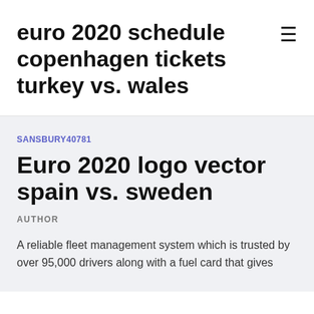euro 2020 schedule copenhagen tickets turkey vs. wales
SANSBURY40781
Euro 2020 logo vector spain vs. sweden
AUTHOR
A reliable fleet management system which is trusted by over 95,000 drivers along with a fuel card that gives